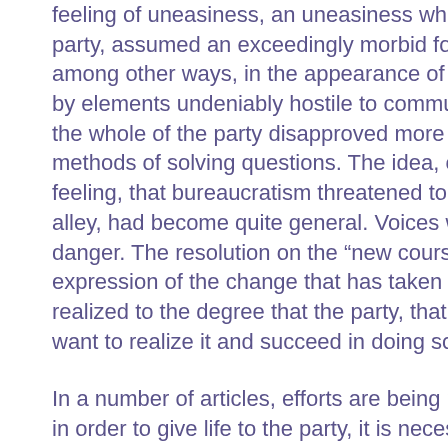feeling of uneasiness, an uneasiness which, at the extremities of the party, assumed an exceedingly morbid form and was translated, among other ways, in the appearance of illegal groupings directed by elements undeniably hostile to communism. At the same time, the whole of the party disapproved more and more of apparatus methods of solving questions. The idea, or at the very least the feeling, that bureaucratism threatened to get the party into a blind alley, had become quite general. Voices were raised to point out the danger. The resolution on the “new course” is the first official expression of the change that has taken place in the party. It will be realized to the degree that the party, that is, its 400,000 members, want to realize it and succeed in doing so.
In a number of articles, efforts are being made to demonstrate that in order to give life to the party, it is necessary to begin by raising the level of its members, after which everything else, that is, workers’